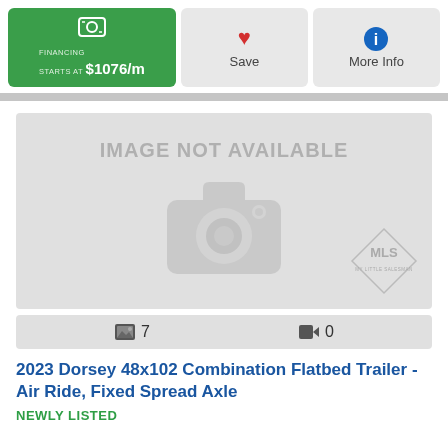[Figure (screenshot): Financing button: green background, money icon, text 'FINANCING STARTS AT $1076/m']
[Figure (screenshot): Save button: light gray background, red heart icon, text 'Save']
[Figure (screenshot): More Info button: light gray background, blue info icon, text 'More Info']
[Figure (photo): Image not available placeholder with camera icon and MLS watermark logo]
🖼 7   🎥 0
2023 Dorsey 48x102 Combination Flatbed Trailer - Air Ride, Fixed Spread Axle
NEWLY LISTED